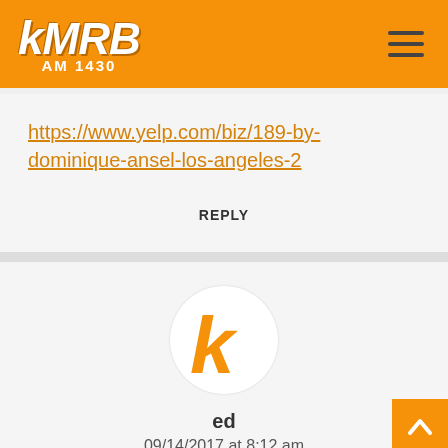[Figure (logo): KMRB AM 1430 radio station logo in white italic bold text on orange background]
https://www.yelp.com/biz/189-by-dominique-ansel-los-angeles-2
REPLY
[Figure (logo): Orange italic K letter avatar icon on white circle]
ed
09/14/2017 at 8:12 am